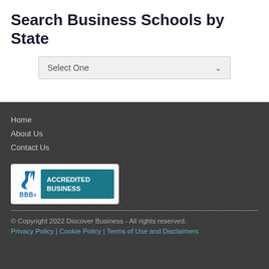Search Business Schools by State
Select One
Home
About Us
Contact Us
[Figure (logo): BBB Accredited Business badge with flame logo and teal background]
© Copyright 2022 Discover Business - All rights reserved.
Privacy Policy | Cookie Policy | Terms of Use and Disclaimers